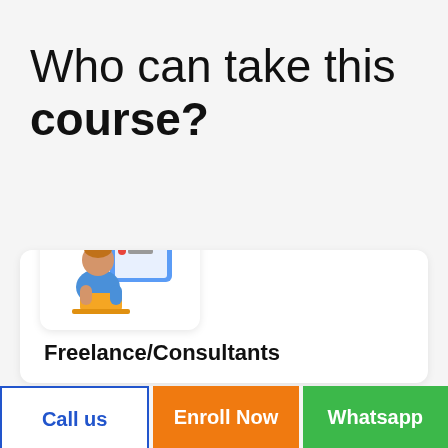Who can take this course?
[Figure (illustration): Illustration of a person sitting at a laptop with a checklist/form in the background]
Freelance/Consultants
Looking forward to start your career as freelance designer or consultant this web designing training will provide you the best of
Call us
Enroll Now
Whatsapp